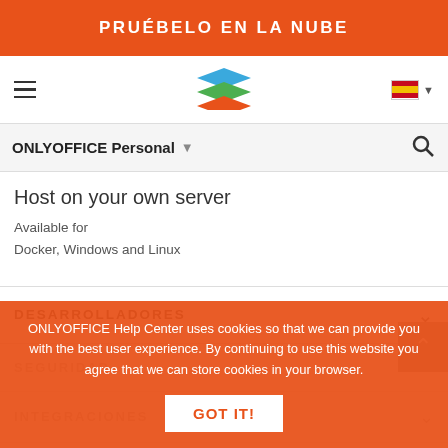PRUÉBELO EN LA NUBE
[Figure (logo): ONLYOFFICE stacked colored layers logo in nav bar]
ONLYOFFICE Personal
Host on your own server
Available for
Docker, Windows and Linux
DESARROLLADORES
SEGURIDAD
INTEGRACIONES
SOPORTE
ONLYOFFICE Help Center uses cookies so that we can provide you with the best user experience. By continuing to use this website you agree that we can store cookies in your browser.